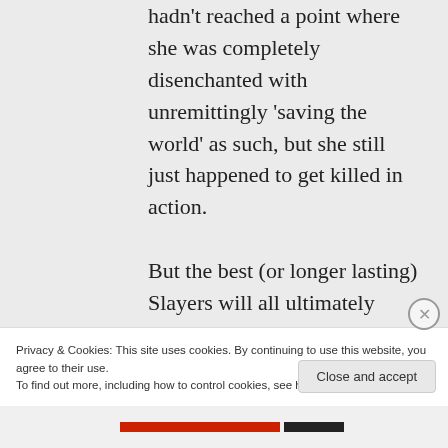hadn't reached a point where she was completely disenchanted with unremittingly 'saving the world' as such, but she still just happened to get killed in action.

But the best (or longer lasting) Slayers will all ultimately reach a point where their mundane
Privacy & Cookies: This site uses cookies. By continuing to use this website, you agree to their use.
To find out more, including how to control cookies, see here: Cookie Policy
Close and accept